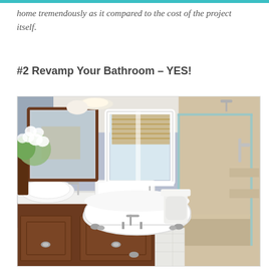home tremendously as it compared to the cost of the project itself.
#2 Revamp Your Bathroom – YES!
[Figure (photo): Interior photo of a renovated bathroom featuring a clawfoot freestanding bathtub, wall-mounted faucets, a double vanity with dark wood cabinets and white countertop vessel sinks, a large mirror, white flowers in a vase, a central window with wooden blinds, and a glass-enclosed walk-in shower with beige stone tile walls on the right side. The walls are painted light blue-grey.]